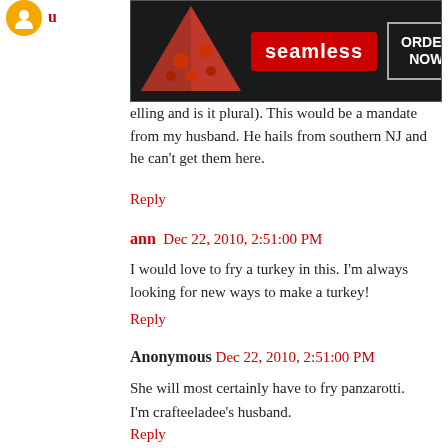[Figure (screenshot): Seamless food delivery advertisement banner with pizza image, seamless logo, and ORDER NOW button]
elling and is it plural). This would be a mandate from my husband. He hails from southern NJ and he can't get them here.
Reply
ann  Dec 22, 2010, 2:51:00 PM
I would love to fry a turkey in this. I'm always looking for new ways to make a turkey!
Reply
Anonymous  Dec 22, 2010, 2:51:00 PM
She will most certainly have to fry panzarotti.
I'm crafteeladee's husband.
Reply